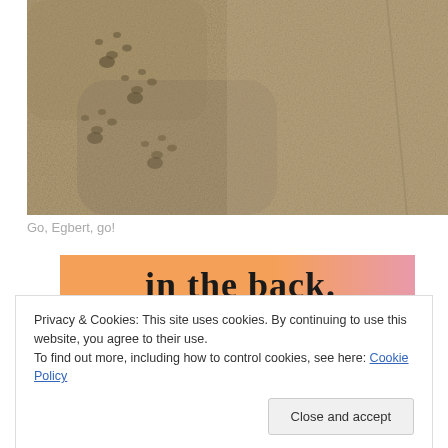[Figure (photo): Close-up photograph of sand with animal paw prints/footprints visible in the upper-left area. The sand has a textured, grainy appearance with a slight ridge or line running diagonally from upper-right.]
Go, Egbert, go!
[Figure (screenshot): Partial view of a webpage banner with orange/pink gradient background showing bold black text 'in the back.']
Privacy & Cookies: This site uses cookies. By continuing to use this website, you agree to their use.
To find out more, including how to control cookies, see here: Cookie Policy
Close and accept